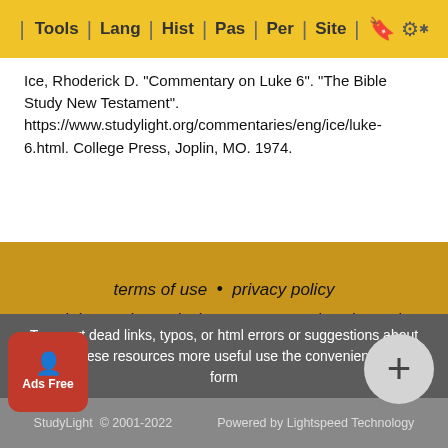Tools | Lang | Hist | Pas | Per | Site
Ice, Rhoderick D. "Commentary on Luke 6". "The Bible Study New Testament". https://www.studylight.org/commentaries/eng/ice/luke-6.html. College Press, Joplin, MO. 1974.
terms of use • privacy policy • rights and permissions • contact sl • about sl • link to sl
To report dead links, typos, or html errors or suggestions about making these resources more useful use the convenient contact form
StudyLight © 2001-2022 Powered by LightspeedTechnology